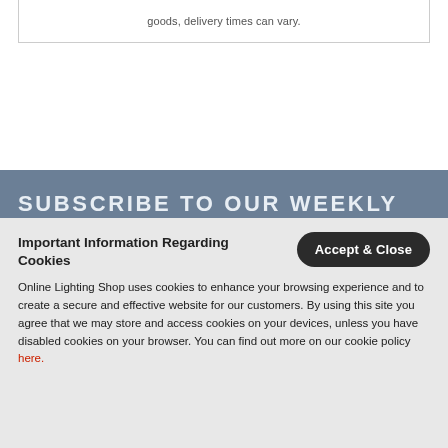goods, delivery times can vary.
SUBSCRIBE TO OUR WEEKLY
Important Information Regarding Cookies
Online Lighting Shop uses cookies to enhance your browsing experience and to create a secure and effective website for our customers. By using this site you agree that we may store and access cookies on your devices, unless you have disabled cookies on your browser. You can find out more on our cookie policy here.